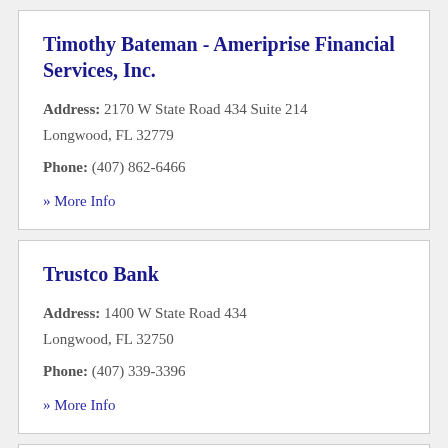Timothy Bateman - Ameriprise Financial Services, Inc.
Address: 2170 W State Road 434 Suite 214 Longwood, FL 32779
Phone: (407) 862-6466
» More Info
Trustco Bank
Address: 1400 W State Road 434 Longwood, FL 32750
Phone: (407) 339-3396
» More Info